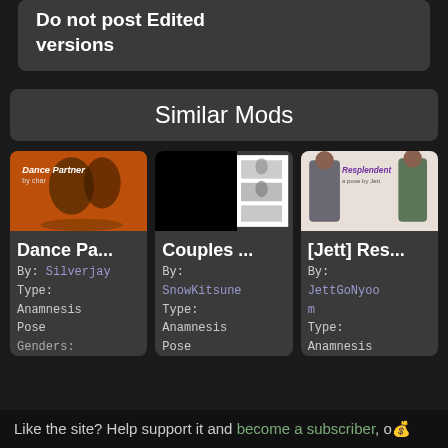Do not post Edited versions
Similar Mods
[Figure (screenshot): Mod card image for Dance Pa... showing two characters in combat pose on fiery orange background with text 'Dance Partner by char']
Dance Pa...
By: Silverjay
Type:
Anamnesis
Pose
Genders:
[Figure (screenshot): Mod card image for Couples ... showing figures on black background with white photo collage strip]
Couples ...
By: SnowKitsune
Type:
Anamnesis
Pose
[Figure (screenshot): Mod card image for [Jett] Res... showing two female characters posing with text 'Resplendent a pose by Jett']
[Jett] Res...
By: JettGoNyoom
Type:
Anamnesis
Like the site? Help support it and become a subscriber, or